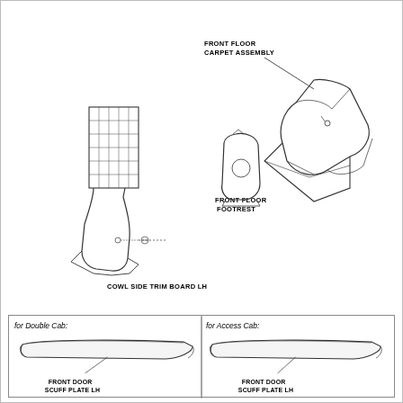[Figure (engineering-diagram): Exploded diagram of interior trim parts: Front Floor Carpet Assembly (top right), Front Floor Footrest (center), Cowl Side Trim Board LH (left), with callout labels.]
[Figure (engineering-diagram): Two side-by-side diagrams showing Front Door Scuff Plate LH for Double Cab (left) and Access Cab (right).]